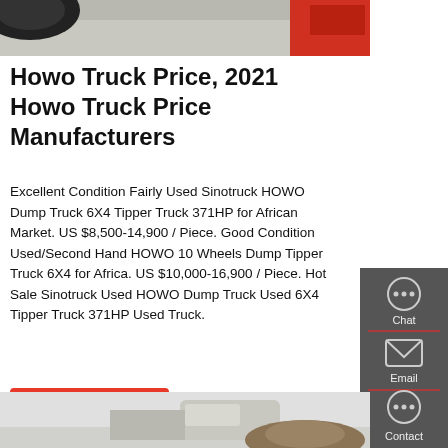[Figure (photo): Partial view of trucks/vehicles at top of page — tires and red vehicle visible]
Howo Truck Price, 2021 Howo Truck Price Manufacturers
Excellent Condition Fairly Used Sinotruck HOWO Dump Truck 6X4 Tipper Truck 371HP for African Market. US $8,500-14,900 / Piece. Good Condition Used/Second Hand HOWO 10 Wheels Dump Tipper Truck 6X4 for Africa. US $10,000-16,900 / Piece. Hot Sale Sinotruck Used HOWO Dump Truck Used 6X4 Tipper Truck 371HP Used Truck.
[Figure (other): Sidebar with Chat, Email, Contact icons on dark grey background]
GET A QUOTE
[Figure (photo): Partial view of a dump truck with gravel/aggregate load at bottom of page]